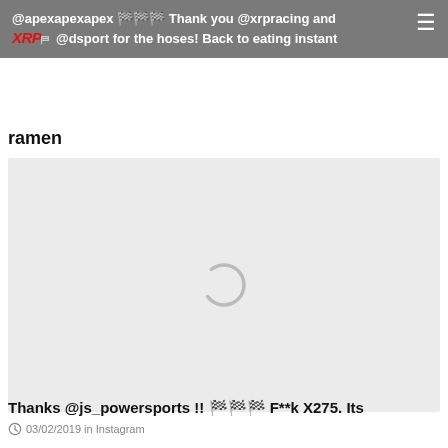@apexapexapex 🏁🏁🏁 Thank you @xrpracing and @dsport for the hoses! Back to eating instant ramen
[Figure (other): Loading spinner / image placeholder with grey background and circular loading indicator]
03/02/2019 in Instagram
Thanks @js_powersports !! 🏁🏁🏁 F**k X275. Its